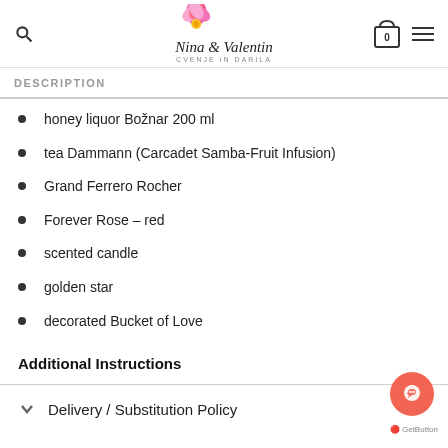Nina & Valentin - CVENJE IN DARILA
DESCRIPTION
honey liquor Božnar 200 ml
tea Dammann (Carcadet Samba-Fruit Infusion)
Grand Ferrero Rocher
Forever Rose – red
scented candle
golden star
decorated Bucket of Love
Additional Instructions
Delivery / Substitution Policy